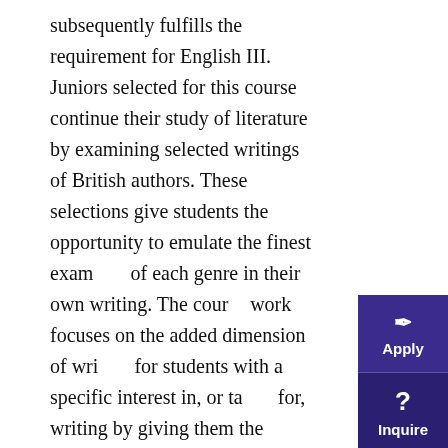subsequently fulfills the requirement for English III. Juniors selected for this course continue their study of literature by examining selected writings of British authors. These selections give students the opportunity to emulate the finest examples of each genre in their own writing. The course work focuses on the added dimension of writing for students with a specific interest in, or talent for, writing by giving them the opportunity of writing in the four generic areas of writing: poetry, the short story, essay, and drama.
A.P. ENGLISH LANGUAGE AND COMPOSITION
A.P. English Language and Composition is an elective in English in the junior year, and it fulfills